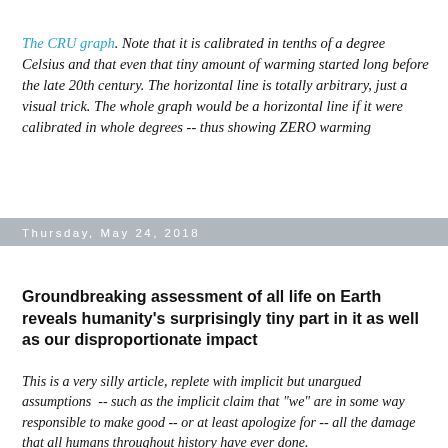The CRU graph. Note that it is calibrated in tenths of a degree Celsius and that even that tiny amount of warming started long before the late 20th century. The horizontal line is totally arbitrary, just a visual trick. The whole graph would be a horizontal line if it were calibrated in whole degrees -- thus showing ZERO warming
Thursday, May 24, 2018
Groundbreaking assessment of all life on Earth reveals humanity's surprisingly tiny part in it as well as our disproportionate impact
This is a very silly article, replete with implicit but unargued assumptions -- such as the implicit claim that "we" are in some way responsible to make good -- or at least apologize for -- all the damage that all humans throughout history have ever done.